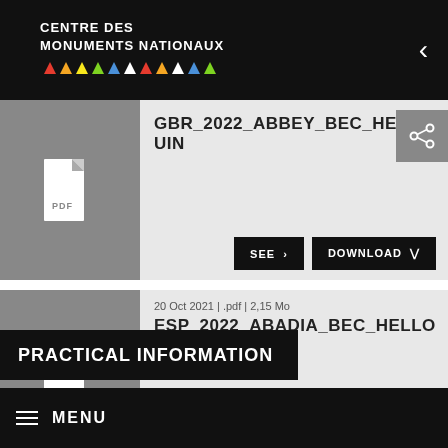CENTRE DES MONUMENTS NATIONAUX
GBR_2022_ABBEY_BEC_HELLOUIN
20 Oct 2021 | .pdf | 2,15 Mo
ESP_2022_ABADIA_BEC_HELLOUIN
PRACTICAL INFORMATION
MENU